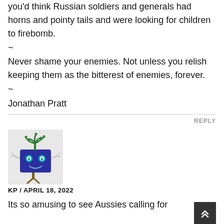you'd think Russian soldiers and generals had horns and pointy tails and were looking for children to firebomb.
~
Never shame your enemies. Not unless you relish keeping them as the bitterest of enemies, forever.
~
Jonathan Pratt
REPLY
[Figure (illustration): Avatar image of a cartoon blue square character with green tentacles/plants on top, cyan eyes, a smile, stick arms and tree-like legs on a light gray background]
KP / APRIL 18, 2022
Its so amusing to see Aussies calling for